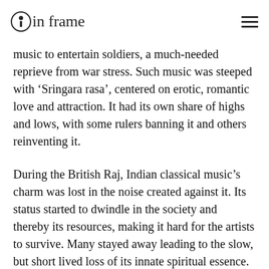in frame
music to entertain soldiers, a much-needed reprieve from war stress. Such music was steeped with ‘Sringara rasa’, centered on erotic, romantic love and attraction. It had its own share of highs and lows, with some rulers banning it and others reinventing it.
During the British Raj, Indian classical music’s charm was lost in the noise created against it. Its status started to dwindle in the society and thereby its resources, making it hard for the artists to survive. Many stayed away leading to the slow, but short lived loss of its innate spiritual essence. However, two legendary